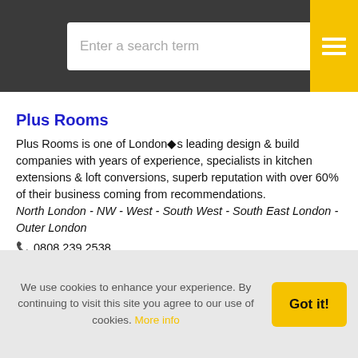Enter a search term
Plus Rooms
Plus Rooms is one of London�s leading design & build companies with years of experience, specialists in kitchen extensions & loft conversions, superb reputation with over 60% of their business coming from recommendations. North London - NW - West - South West - South East London - Outer London ☎ 0808 239 2538
We use cookies to enhance your experience. By continuing to visit this site you agree to our use of cookies. More info